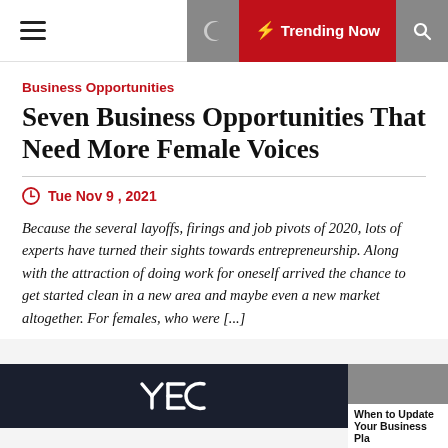≡  ☾  ⚡ Trending Now  🔍
Business Opportunities
Seven Business Opportunities That Need More Female Voices
Tue Nov 9 , 2021
Because the several layoffs, firings and job pivots of 2020, lots of experts have turned their sights towards entrepreneurship. Along with the attraction of doing work for oneself arrived the chance to get started clean in a new area and maybe even a new market altogether. For females, who were [...]
[Figure (logo): YEC logo on dark background]
When to Update Your Business Pla